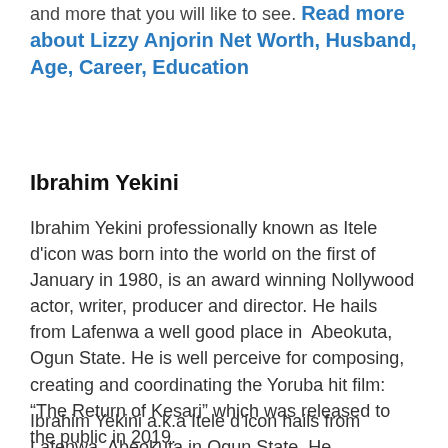and more that you will like to see. Read more about Lizzy Anjorin Net Worth, Husband, Age, Career, Education
Ibrahim Yekini
Ibrahim Yekini professionally known as Itele d'icon was born into the world on the first of January in 1980, is an award winning Nollywood actor, writer, producer and director. He hails from Lafenwa a well good place in Abeokuta, Ogun State. He is well perceive for composing, creating and coordinating the Yoruba hit film: “The Return of Kesari” which was released to the public in 2019.
Ibrahim Yekini a.k.a Itele d’icon hails from Lafenwa, Abeokuta in Ogun State. He...